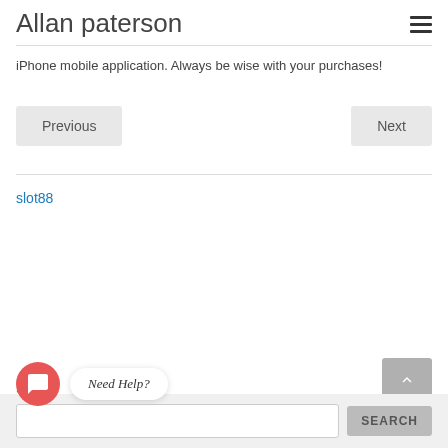Allan paterson
iPhone mobile application. Always be wise with your purchases!
Previous | Next
slot88
S
Need Help?
SEARCH